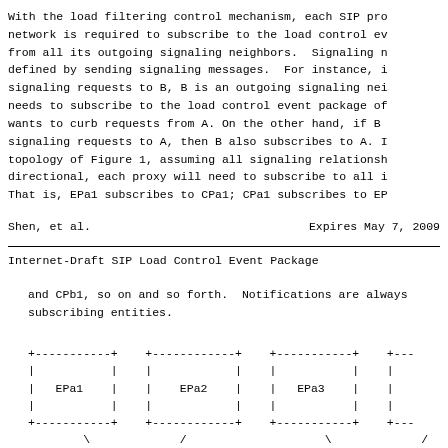With the load filtering control mechanism, each SIP pro
network is required to subscribe to the load control ev
from all its outgoing signaling neighbors.  Signaling n
defined by sending signaling messages.  For instance, i
signaling requests to B, B is an outgoing signaling nei
needs to subscribe to the load control event package of
wants to curb requests from A. On the other hand, if B
signaling requests to A, then B also subscribes to A. I
topology of Figure 1, assuming all signaling relationsh
directional, each proxy will need to subscribe to all i
That is, EPa1 subscribes to CPa1; CPa1 subscribes to EP
Shen, et al.                    Expires May 7, 2009
Internet-Draft      SIP Load Control Event Package
and CPb1, so on and so forth.  Notifications are always
subscribing entities.
[Figure (schematic): ASCII diagram showing network topology boxes labeled EPa1, EPa2, EPa3 and a partial fourth box, with lines connecting them below]